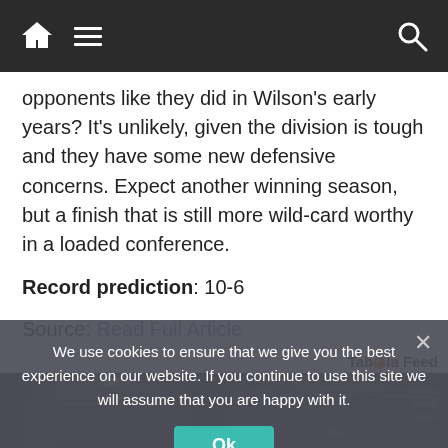Navigation bar with home icon, hamburger menu, and search icon
opponents like they did in Wilson’s early years? It’s unlikely, given the division is tough and they have some new defensive concerns. Expect another winning season, but a finish that is still more wild-card worthy in a loaded conference.
Record prediction: 10-6
Source: Read Full Article
Taboola Feed
[Figure (photo): Two black duffel/backpack bags shown side by side]
We use cookies to ensure that we give you the best experience on our website. If you continue to use this site we will assume that you are happy with it.
Ok